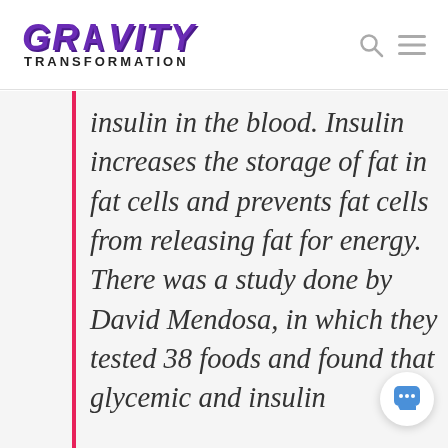GRAVITY TRANSFORMATION
insulin in the blood. Insulin increases the storage of fat in fat cells and prevents fat cells from releasing fat for energy. There was a study done by David Mendosa, in which they tested 38 foods and found that glycemic and insulin